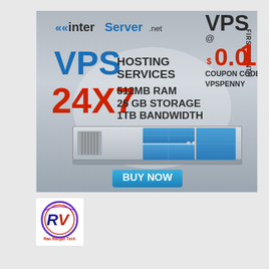[Figure (infographic): InterServer.net VPS Hosting Services advertisement. Shows logo top-left, VPS text top-right with price $0.01 FIRST MONTH, COUPON CODE- VPSPENNY. Main text: VPS HOSTING SERVICES 24X7, 512MB RAM, 25 GB STORAGE, 1TB BANDWIDTH. Server hardware image at bottom. BUY NOW button.]
[Figure (logo): Rao Ranjan Tech circular logo with RV monogram design in purple/blue/red colors with text 'Rao Ranjan Tech' below.]